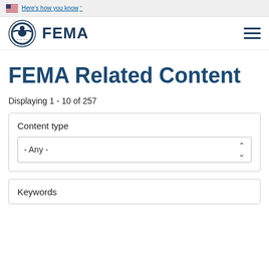An official website of the United States government Here's how you know
[Figure (logo): FEMA logo with DHS seal and FEMA wordmark, with hamburger menu icon on right]
FEMA Related Content
Displaying 1 - 10 of 257
Content type
- Any -
Keywords